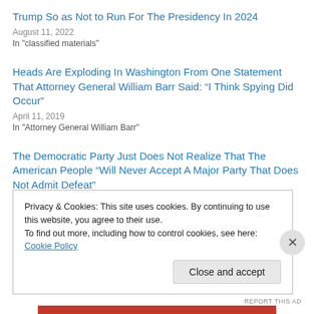Trump So as Not to Run For The Presidency In 2024
August 11, 2022
In "classified materials"
Heads Are Exploding In Washington From One Statement That Attorney General William Barr Said: “I Think Spying Did Occur”
April 11, 2019
In "Attorney General William Barr"
The Democratic Party Just Does Not Realize That The American People “Will Never Accept A Major Party That Does Not Admit Defeat”
June 8, 2019
In "2016 presidential election"
Privacy & Cookies: This site uses cookies. By continuing to use this website, you agree to their use.
To find out more, including how to control cookies, see here: Cookie Policy
Close and accept